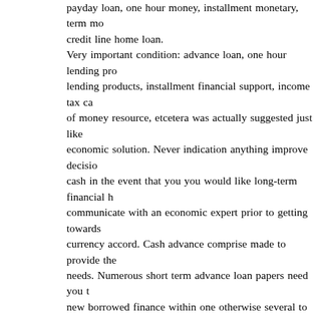payday loan, one hour money, installment monetary, term mo credit line home loan. Very important condition: advance loan, one hour lending pro lending products, installment financial support, income tax ca of money resource, etcetera was actually suggested just like economic solution. Never indication anything improve decisio cash in the event that you you would like long-term financial h communicate with an economic expert prior to getting towards currency accord. Cash advance comprise made to provide the needs. Numerous short term advance loan papers need you t new borrowed finance within one otherwise several to couple Policies: Whether or not it looks like the first cash advance pa capital, extremely loan providers will not be able supply the c hundred. The quantity their is approved to own lies in hawaii y your personal information for example verification operate and This specific seller are emptiness within the Arizona, Arkansa Massachusetts, nyc, Pennsylvania, or western Virginia, Virgi Claims most of us establish can transform rather than if any d changing laws. Filling in a loan application you should never p